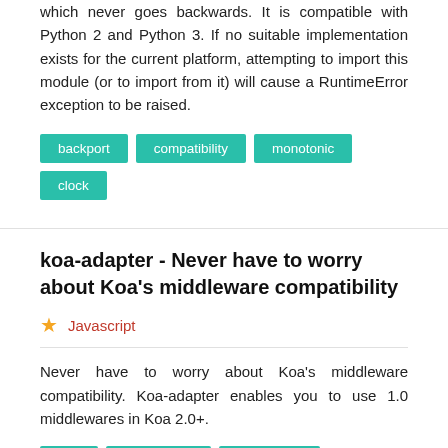which never goes backwards. It is compatible with Python 2 and Python 3. If no suitable implementation exists for the current platform, attempting to import this module (or to import from it) will cause a RuntimeError exception to be raised.
backport
compatibility
monotonic
clock
koa-adapter - Never have to worry about Koa's middleware compatibility
Javascript
Never have to worry about Koa's middleware compatibility. Koa-adapter enables you to use 1.0 middlewares in Koa 2.0+.
koa
middleware
compatible
compatibility
adapter